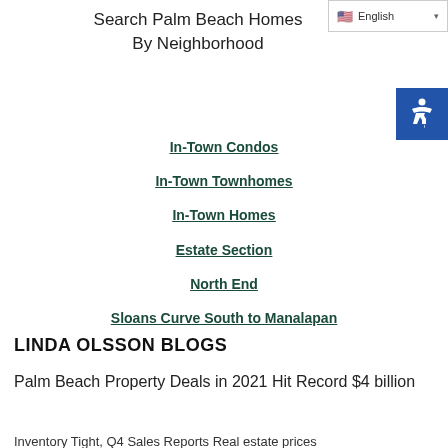English (language selector)
Search Palm Beach Homes By Neighborhood
In-Town Condos
In-Town Townhomes
In-Town Homes
Estate Section
North End
Sloans Curve South to Manalapan
LINDA OLSSON BLOGS
Palm Beach Property Deals in 2021 Hit Record $4 billion
Inventory Tight, Q4 Sales Reports Real estate prices